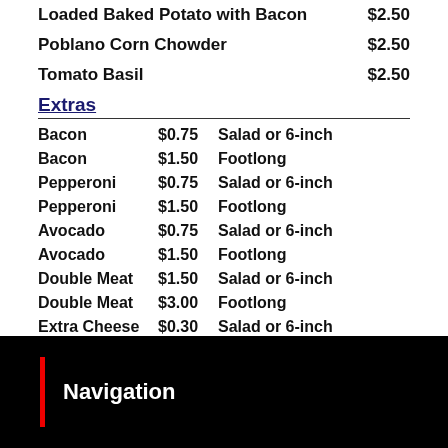Loaded Baked Potato with Bacon $2.50
Poblano Corn Chowder $2.50
Tomato Basil $2.50
Extras
| Item | Price | Size |
| --- | --- | --- |
| Bacon | $0.75 | Salad or 6-inch |
| Bacon | $1.50 | Footlong |
| Pepperoni | $0.75 | Salad or 6-inch |
| Pepperoni | $1.50 | Footlong |
| Avocado | $0.75 | Salad or 6-inch |
| Avocado | $1.50 | Footlong |
| Double Meat | $1.50 | Salad or 6-inch |
| Double Meat | $3.00 | Footlong |
| Extra Cheese | $0.30 | Salad or 6-inch |
| Extra Cheese | $0.60 | Footlong |
Navigation